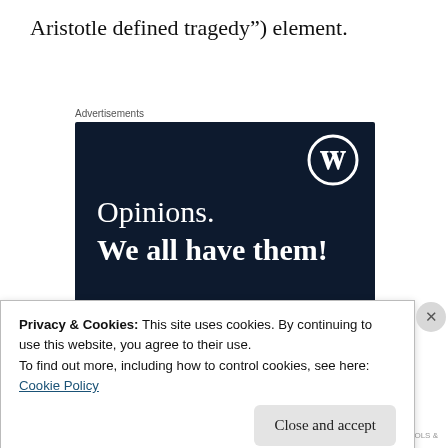Aristotle defined tragedy”) element.
Advertisements
[Figure (screenshot): Advertisement banner with dark navy background, WordPress logo in top right, text reading 'Opinions. We all have them!' in white, a pink button at the bottom left, and a light circle at bottom right.]
Privacy & Cookies: This site uses cookies. By continuing to use this website, you agree to their use.
To find out more, including how to control cookies, see here:
Cookie Policy
Close and accept